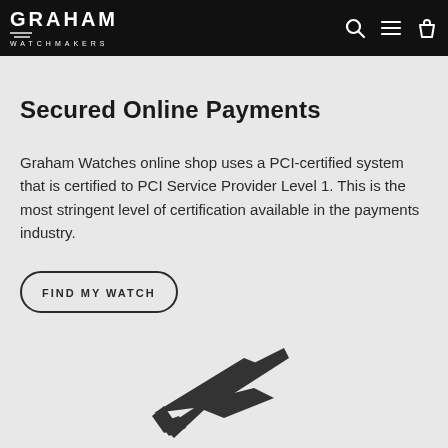GRAHAM WATCHMAKERS
Secured Online Payments
Graham Watches online shop uses a PCI-certified system that is certified to PCI Service Provider Level 1. This is the most stringent level of certification available in the payments industry.
FIND MY WATCH
[Figure (illustration): Airplane icon in dark gray, depicting a plane silhouette pointing upper right, partially visible at the bottom of the page.]